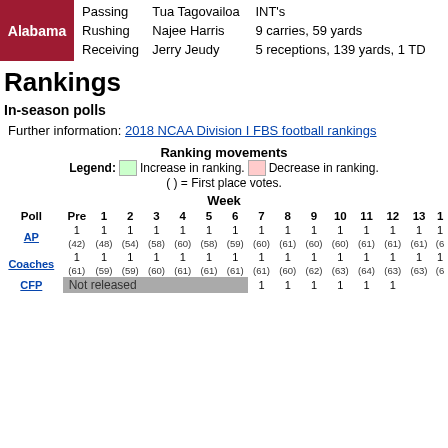| Team | Category | Player | Stats |
| --- | --- | --- | --- |
| Alabama | Passing | Tua Tagovailoa | INT's |
|  | Rushing | Najee Harris | 9 carries, 59 yards |
|  | Receiving | Jerry Jeudy | 5 receptions, 139 yards, 1 TD |
Rankings
In-season polls
Further information: 2018 NCAA Division I FBS football rankings
| Poll | Pre | 1 | 2 | 3 | 4 | 5 | 6 | 7 | 8 | 9 | 10 | 11 | 12 | 13 | 1 |
| --- | --- | --- | --- | --- | --- | --- | --- | --- | --- | --- | --- | --- | --- | --- | --- |
| AP | 1 (42) | 1 (48) | 1 (54) | 1 (58) | 1 (60) | 1 (58) | 1 (59) | 1 (60) | 1 (61) | 1 (60) | 1 (60) | 1 (61) | 1 (61) | 1 (61) | 1 (6... |  |
| Coaches | 1 (61) | 1 (59) | 1 (59) | 1 (60) | 1 (61) | 1 (61) | 1 (61) | 1 (61) | 1 (60) | 1 (62) | 1 (63) | 1 (64) | 1 (63) | 1 (63) | 1 (6... |  |
| CFP | Not released |  |  |  |  |  |  | 1 | 1 | 1 | 1 | 1 | 1 |  |  |